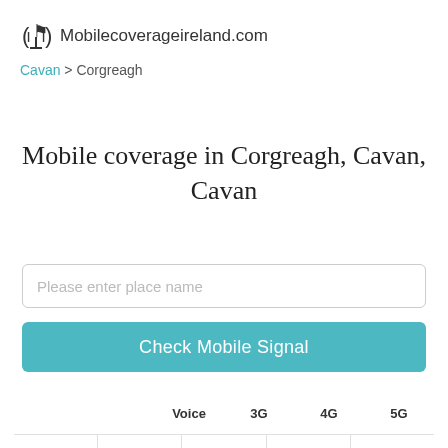Mobilecoverageireland.com
Cavan > Corgreagh
Mobile coverage in Corgreagh, Cavan, Cavan
Please enter place name
Check Mobile Signal
|  | Voice | 3G | 4G | 5G |
| --- | --- | --- | --- | --- |